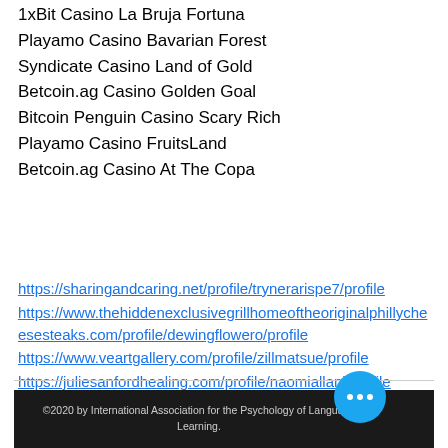1xBit Casino La Bruja Fortuna
Playamo Casino Bavarian Forest
Syndicate Casino Land of Gold
Betcoin.ag Casino Golden Goal
Bitcoin Penguin Casino Scary Rich
Playamo Casino FruitsLand
Betcoin.ag Casino At The Copa
https://sharingandcaring.net/profile/trynerarispe7/profile
https://www.thehiddenexclusivegrillhomeoftheoriginalphillycheesesteaks.com/profile/dewingflowero/profile
https://www.veartgallery.com/profile/zillmatsue/profile
https://juliesanfordhealing.com/profile/naomiallani/profile
©2020 by International Association for the Psychology of Language Learning.